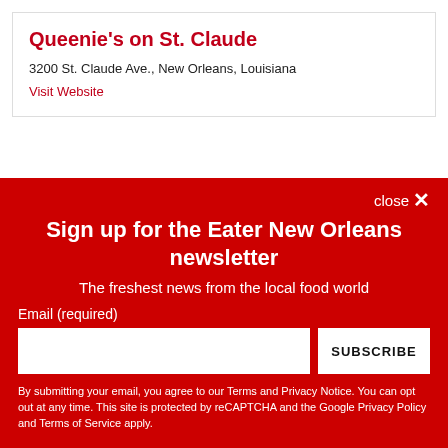Queenie's on St. Claude
3200 St. Claude Ave., New Orleans, Louisiana
Visit Website
close ×
Sign up for the Eater New Orleans newsletter
The freshest news from the local food world
Email (required)
SUBSCRIBE
By submitting your email, you agree to our Terms and Privacy Notice. You can opt out at any time. This site is protected by reCAPTCHA and the Google Privacy Policy and Terms of Service apply.